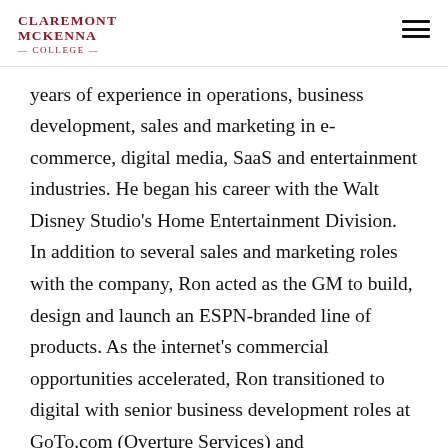Claremont McKenna College
years of experience in operations, business development, sales and marketing in e-commerce, digital media, SaaS and entertainment industries. He began his career with the Walt Disney Studio's Home Entertainment Division. In addition to several sales and marketing roles with the company, Ron acted as the GM to build, design and launch an ESPN-branded line of products. As the internet's commercial opportunities accelerated, Ron transitioned to digital with senior business development roles at GoTo.com (Overture Services) and PriceGrabber.com. During this time, Ron established partnerships with Microsoft, IAC, Yahoo, AOL, Comcast and many others and played key roles leading to Yahoo's